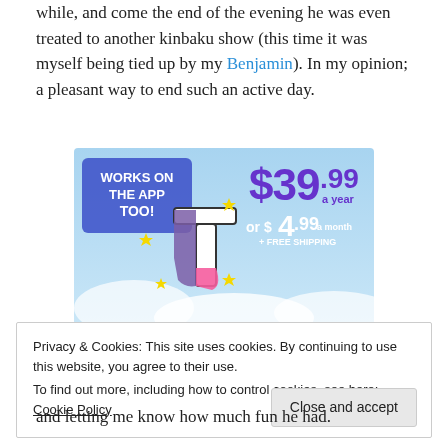while, and come the end of the evening he was even treated to another kinbaku show (this time it was myself being tied up by my Benjamin). In my opinion; a pleasant way to end such an active day.
[Figure (other): Tumblr advertisement banner showing the Tumblr logo (colorful letter t) with sparkle stars on a light blue sky background. Text reads: WORKS ON THE APP TOO! $39.99 a year or $4.99 a month + FREE SHIPPING]
Privacy & Cookies: This site uses cookies. By continuing to use this website, you agree to their use.
To find out more, including how to control cookies, see here: Cookie Policy
and letting me know how much fun he had.